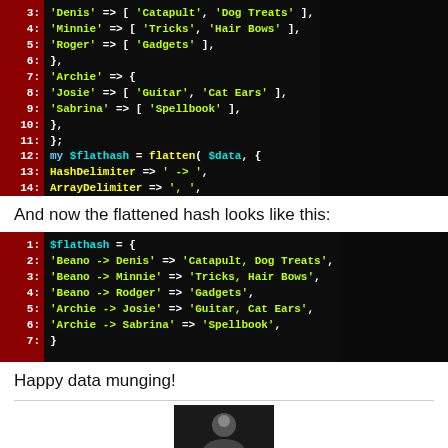[Figure (screenshot): Code block showing Perl hash data structure with line numbers 3-16, displaying nested hash assignment with Archie, Josie, Sabrina keys and flatten function call with HashDelimiter and ArrayDelimiter parameters]
And now the flattened hash looks like this:
[Figure (screenshot): Code block showing flattened hash $flathash with line numbers 1-7, containing keys like 'Beano -> Denis', 'Beano -> Minnie', 'Beano -> Rodger', 'Archie -> Josie', 'Archie -> Sabrina' with their string values]
Happy data munging!
[Figure (photo): Small dark photo of a person, partially visible at bottom of page]